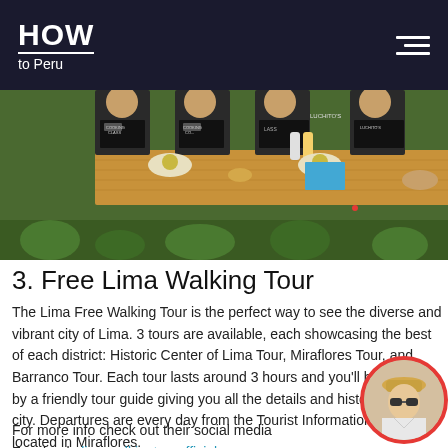HOW to Peru
[Figure (photo): People at a cooking class, standing around a wooden table with plates of food and condiment bottles. Participants wearing black aprons with 'Cooking Class' text.]
3. Free Lima Walking Tour
The Lima Free Walking Tour is the perfect way to see the diverse and vibrant city of Lima. 3 tours are available, each showcasing the best of each district: Historic Center of Lima Tour, Miraflores Tour, and Barranco Tour. Each tour lasts around 3 hours and you'll be guided by a friendly tour guide giving you all the details and history of the city. Departures are every day from the Tourist Information Center located in Miraflores.
For more info check out their social media Facebook: limawalkingtourofficial